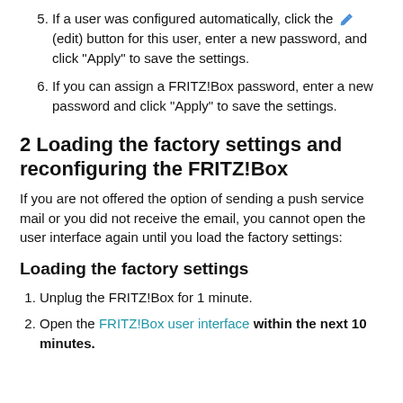5. If a user was configured automatically, click the (edit) button for this user, enter a new password, and click "Apply" to save the settings.
6. If you can assign a FRITZ!Box password, enter a new password and click "Apply" to save the settings.
2 Loading the factory settings and reconfiguring the FRITZ!Box
If you are not offered the option of sending a push service mail or you did not receive the email, you cannot open the user interface again until you load the factory settings:
Loading the factory settings
1. Unplug the FRITZ!Box for 1 minute.
2. Open the FRITZ!Box user interface within the next 10 minutes.